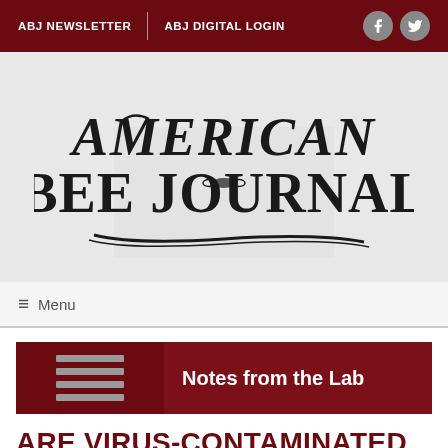ABJ NEWSLETTER | ABJ DIGITAL LOGIN
[Figure (logo): American Bee Journal masthead logo in decorative serif typeface]
≡ Menu
Notes from the Lab
ARE VIRUS-CONTAMINATED FLOWERS SURROUNDING YOUR APIARY GETTING WILD BUMBLE BEES SICK?